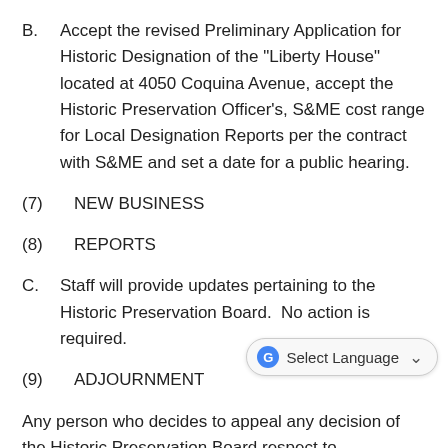B.    Accept the revised Preliminary Application for Historic Designation of the "Liberty House" located at 4050 Coquina Avenue, accept the Historic Preservation Officer's, S&ME cost range for Local Designation Reports per the contract with S&ME and set a date for a public hearing.
(7)    NEW BUSINESS
(8)    REPORTS
C.    Staff will provide updates pertaining to the Historic Preservation Board.  No action is required.
(9)    ADJOURNMENT
Any person who decides to appeal any decision of the Historic Preservation Board respect to